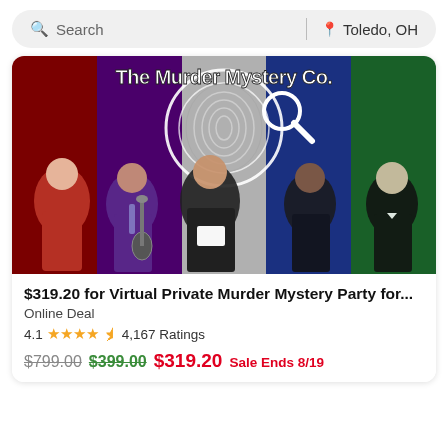Search | Toledo, OH
[Figure (photo): The Murder Mystery Co. promotional image showing five costumed actors against colorful background panels (red, purple, grey, blue, green) with logo and fingerprint graphic]
$319.20 for Virtual Private Murder Mystery Party for...
Online Deal
4.1 ★★★★½ 4,167 Ratings
$799.00 $399.00 $319.20 Sale Ends 8/19